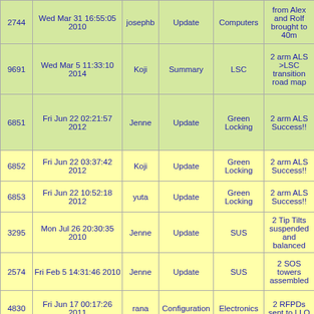| ID | Date | Author | Type | Category | Description |
| --- | --- | --- | --- | --- | --- |
| 2744 | Wed Mar 31 16:55:05 2010 | josephb | Update | Computers | from Alex and Rolf brought to 40m |
| 9691 | Wed Mar 5 11:33:10 2014 | Koji | Summary | LSC | 2 arm ALS >LSC transition road map |
| 6851 | Fri Jun 22 02:21:57 2012 | Jenne | Update | Green Locking | 2 arm ALS Success!! |
| 6852 | Fri Jun 22 03:37:42 2012 | Koji | Update | Green Locking | 2 arm ALS Success!! |
| 6853 | Fri Jun 22 10:52:18 2012 | yuta | Update | Green Locking | 2 arm ALS Success!! |
| 3295 | Mon Jul 26 20:30:35 2010 | Jenne | Update | SUS | 2 Tip Tilts suspended and balanced |
| 2574 | Fri Feb 5 14:31:46 2010 | Jenne | Update | SUS | 2 SOS towers assembled |
| 4830 | Fri Jun 17 00:17:26 2011 | rana | Configuration | Electronics | 2 RFPDs sent to LLO |
| 1349 | Tue Mar 3 11:39:50 2009 | Osamu | DAQ | Computers | 2 PCs in Martian |